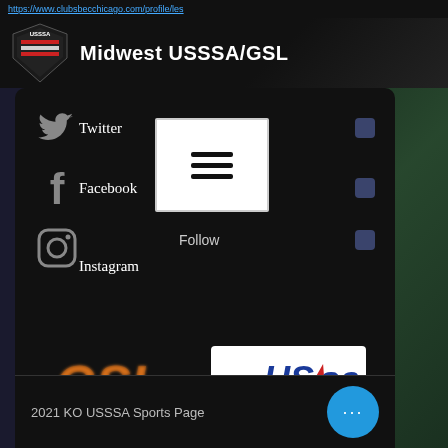https://www.clubsbecchicago.com/profile/les
Midwest USSSA/GSL
Twitter  Follow
Facebook  Become a Fan
Instagram  Follow
[Figure (logo): GSL orange logo and USSSA logo]
2021 KO USSSA Sports Page